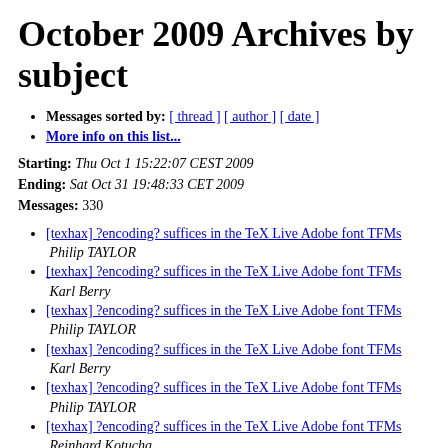October 2009 Archives by subject
Messages sorted by: [ thread ] [ author ] [ date ]
More info on this list...
Starting: Thu Oct 1 15:22:07 CEST 2009
Ending: Sat Oct 31 19:48:33 CET 2009
Messages: 330
[texhax] ?encoding? suffices in the TeX Live Adobe font TFMs  Philip TAYLOR
[texhax] ?encoding? suffices in the TeX Live Adobe font TFMs  Karl Berry
[texhax] ?encoding? suffices in the TeX Live Adobe font TFMs  Philip TAYLOR
[texhax] ?encoding? suffices in the TeX Live Adobe font TFMs  Karl Berry
[texhax] ?encoding? suffices in the TeX Live Adobe font TFMs  Philip TAYLOR
[texhax] ?encoding? suffices in the TeX Live Adobe font TFMs  Reinhard Kotucha
[texhax] ?encoding? suffices in the TeX Live Adobe font TFMs